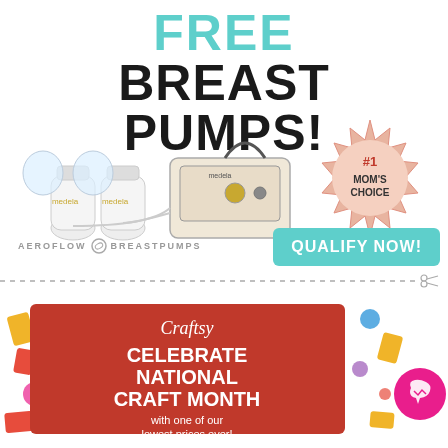FREE BREAST PUMPS!
[Figure (photo): Medela breast pump product photo with bottles and pump unit, showing #1 Mom's Choice badge]
AEROFLOW BREASTPUMPS
QUALIFY NOW!
[Figure (infographic): Craftsy advertisement for National Craft Month with craft supply decorations and Messenger icon. Text: Craftsy - CELEBRATE NATIONAL CRAFT MONTH - with one of our lowest prices ever!]